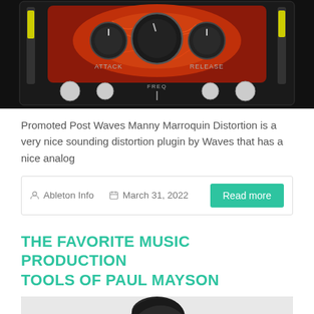[Figure (photo): Audio plugin interface showing Waves Manny Marroquin Distortion with knobs including ATTACK and RELEASE labels on a dark background with red/orange design elements and yellow level indicators]
Promoted Post Waves Manny Marroquin Distortion is a very nice sounding distortion plugin by Waves that has a nice analog
Ableton Info   March 31, 2022   Read more
THE FAVORITE MUSIC PRODUCTION TOOLS OF PAUL MAYSON
[Figure (photo): Black and white portrait photo of a young man (Paul Mayson) from the shoulders up, with dark hair, looking to the side]